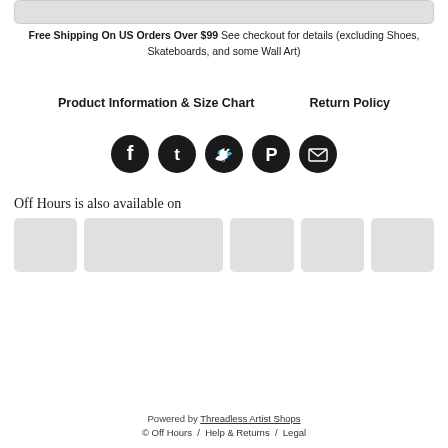Free Shipping On US Orders Over $99 See checkout for details (excluding Shoes, Skateboards, and some Wall Art)
Product Information & Size Chart    Return Policy
[Figure (illustration): Social media share icons: Facebook, Tumblr, Twitter, Pinterest, Email — dark circular buttons]
Off Hours is also available on
[Figure (illustration): Row of partner/store logo placeholder boxes (grey rectangles)]
Powered by Threadless Artist Shops
© Off Hours / Help & Returns / Legal